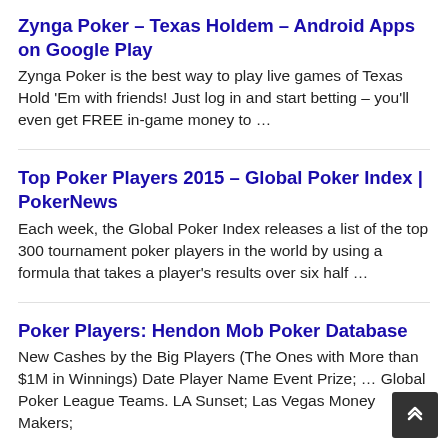Zynga Poker – Texas Holdem – Android Apps on Google Play
Zynga Poker is the best way to play live games of Texas Hold 'Em with friends! Just log in and start betting – you'll even get FREE in-game money to …
Top Poker Players 2015 – Global Poker Index | PokerNews
Each week, the Global Poker Index releases a list of the top 300 tournament poker players in the world by using a formula that takes a player's results over six half …
Poker Players: Hendon Mob Poker Database
New Cashes by the Big Players (The Ones with More than $1M in Winnings) Date Player Name Event Prize; … Global Poker League Teams. LA Sunset; Las Vegas Money Makers;
Disclosure of Income – Full Tilt Poker CEO Ray Bitar ...